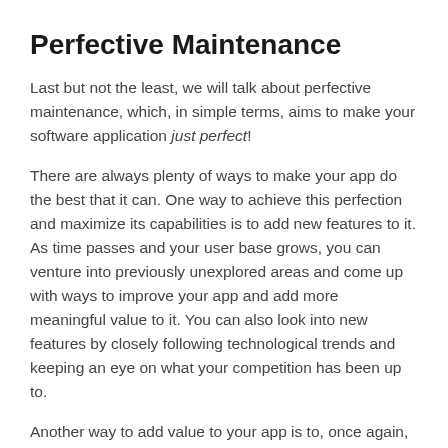Perfective Maintenance
Last but not the least, we will talk about perfective maintenance, which, in simple terms, aims to make your software application just perfect!
There are always plenty of ways to make your app do the best that it can. One way to achieve this perfection and maximize its capabilities is to add new features to it. As time passes and your user base grows, you can venture into previously unexplored areas and come up with ways to improve your app and add more meaningful value to it. You can also look into new features by closely following technological trends and keeping an eye on what your competition has been up to.
Another way to add value to your app is to, once again, listen to its users. Your app's users are priceless sources of feedback regarding its performance. As they use your